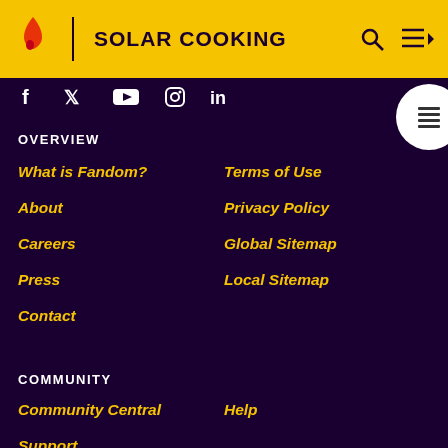SOLAR COOKING
OVERVIEW
What is Fandom?
Terms of Use
About
Privacy Policy
Careers
Global Sitemap
Press
Local Sitemap
Contact
COMMUNITY
Community Central
Help
Support